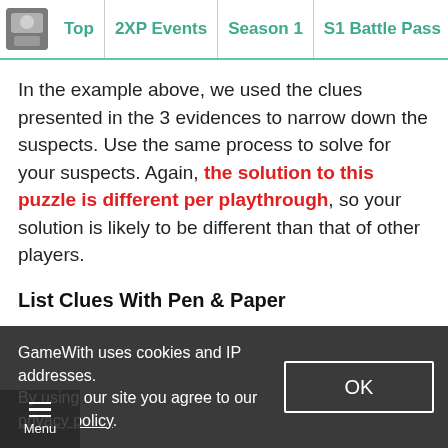Top | 2XP Events | Season 1 | S1 Battle Pass | Campai
In the example above, we used the clues presented in the 3 evidences to narrow down the suspects. Use the same process to solve for your suspects. Again, the solution to this puzzle is different per playthrough, so your solution is likely to be different than that of other players.
List Clues With Pen & Paper
An advice that we can give is to go manual and get a piece of paper and a pen to write the clues. Going through the different screens just to review the evidences can be tedious and this helps declutter things.
Sponsored Link
GameWith uses cookies and IP addresses. By using our site you agree to our privacy policy.